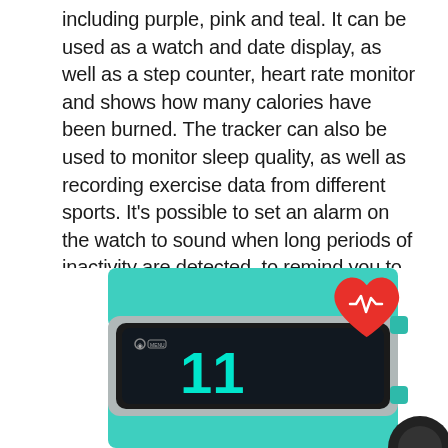including purple, pink and teal. It can be used as a watch and date display, as well as a step counter, heart rate monitor and shows how many calories have been burned. The tracker can also be used to monitor sleep quality, as well as recording exercise data from different sports. It's possible to set an alarm on the watch to sound when long periods of inactivity are detected, to remind you to get up and about.
[Figure (photo): A teal/mint colored fitness tracker wristband with a dark screen showing the number '11' in teal, and a red heart with a white heartbeat/EKG line icon (heart rate monitor emoji) visible in the upper right area. Bottom right shows a partial circular dark object.]